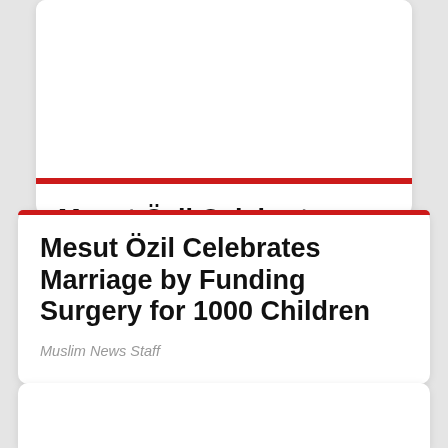Mesut Özil Celebrates Marriage by Funding Surgery for 1000 Children
Muslim News Staff